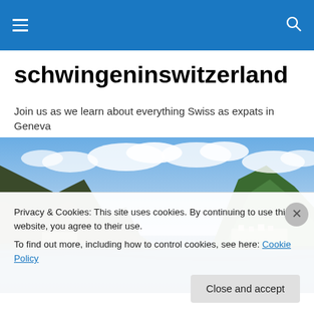schwingeninswitzerland — navigation header bar
schwingeninswitzerland
Join us as we learn about everything Swiss as expats in Geneva
[Figure (photo): Panoramic photo of Swiss alpine lake with mountains and town on the shore under a partly cloudy sky]
Privacy & Cookies: This site uses cookies. By continuing to use this website, you agree to their use.
To find out more, including how to control cookies, see here: Cookie Policy